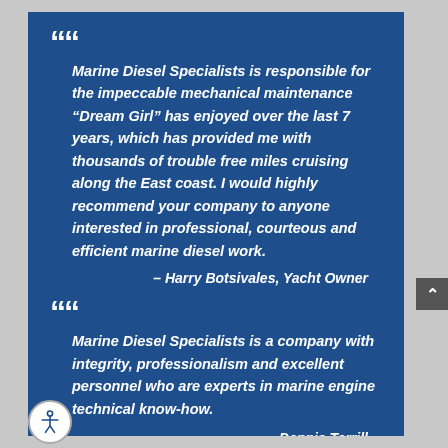““
Marine Diesel Specialists is responsible for the impeccable mechanical maintenance “Dream Girl” has enjoyed over the last 7 years, which has provided me with thousands of trouble free miles cruising along the East coast. I would highly recommend your company to anyone interested in professional, courteous and efficient marine diesel work.
– Harry Botsivales, Yacht Owner
““
Marine Diesel Specialists is a company with integrity, professionalism and excellent personnel who are experts in marine engine technical know-how.
– Dennis Terrill